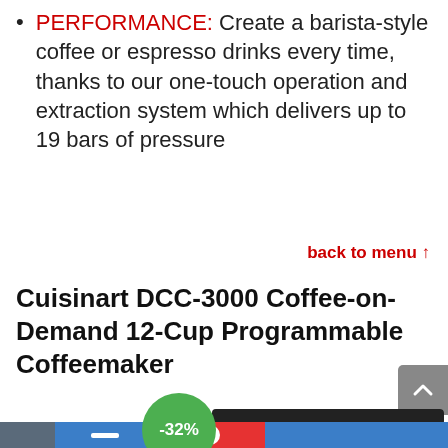PERFORMANCE: Create a barista-style coffee or espresso drinks every time, thanks to our one-touch operation and extraction system which delivers up to 19 bars of pressure
back to menu ↑
Cuisinart DCC-3000 Coffee-on-Demand 12-Cup Programmable Coffeemaker
[Figure (photo): Photo of a Cuisinart DCC-3000 stainless steel coffeemaker with a -32% discount badge (green circle) in the lower left, and a scroll-to-top button (grey rounded rectangle with up chevron) on the right side.]